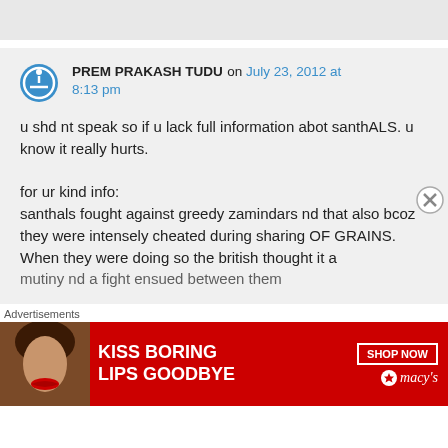PREM PRAKASH TUDU on July 23, 2012 at 8:13 pm
u shd nt speak so if u lack full information abot santhALS. u know it really hurts.

for ur kind info:
santhals fought against greedy zamindars nd that also bcoz they were intensely cheated during sharing OF GRAINS. When they were doing so the british thought it a mutiny nd a fight ensued between them
Advertisements
[Figure (photo): Macy's advertisement banner: red background with woman's face, text 'KISS BORING LIPS GOODBYE', SHOP NOW button, and Macy's logo with star]